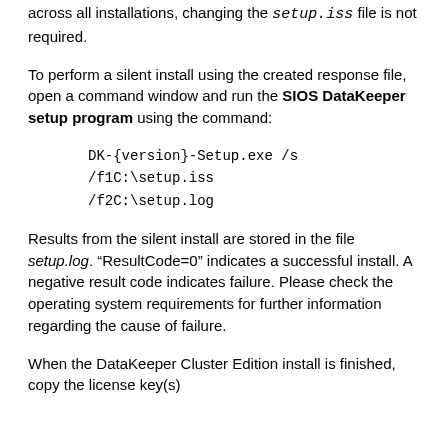across all installations, changing the setup.iss file is not required.
To perform a silent install using the created response file, open a command window and run the SIOS DataKeeper setup program using the command:
DK-{version}-Setup.exe /s
/f1C:\setup.iss
/f2C:\setup.log
Results from the silent install are stored in the file setup.log. “ResultCode=0” indicates a successful install. A negative result code indicates failure. Please check the operating system requirements for further information regarding the cause of failure.
When the DataKeeper Cluster Edition install is finished, copy the license key(s)